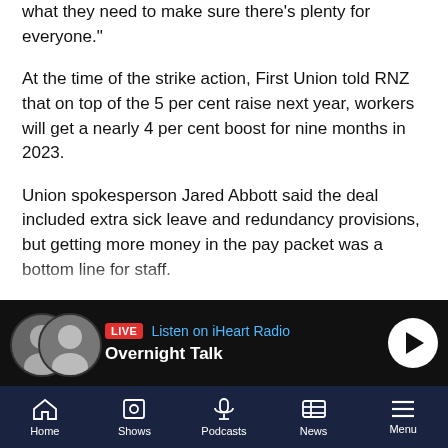what they need to make sure there's plenty for everyone."
At the time of the strike action, First Union told RNZ that on top of the 5 per cent raise next year, workers will get a nearly 4 per cent boost for nine months in 2023.
Union spokesperson Jared Abbott said the deal included extra sick leave and redundancy provisions, but getting more money in the pay packet was a bottom line for staff.
"The workers said 'don't come back with an offer of less than 5 per cent', and to be able to stand in front of them last night and be able to tell them they were getting their 5 per cent was a really good feeling.
"The vibe and the parties that happened afterwards were a
[Figure (screenshot): Radio banner showing LIVE Listen on iHeart Radio with Overnight Talk show, play button, and two host avatars on dark background]
Home  Shows  Podcasts  News  Menu